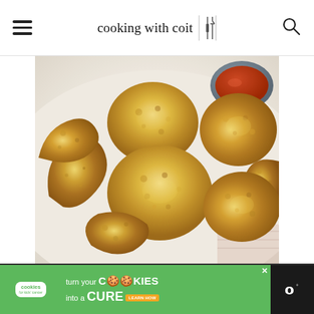cooking with coit
[Figure (photo): Breaded and fried food pieces (fried pickles or similar breaded appetizers) arranged on a white plate with a small bowl of dipping sauce visible in the upper right corner]
[Figure (infographic): Advertisement banner: 'cookies for kids cancer - turn your COOKIES into a CURE LEARN HOW' with green background and close button]